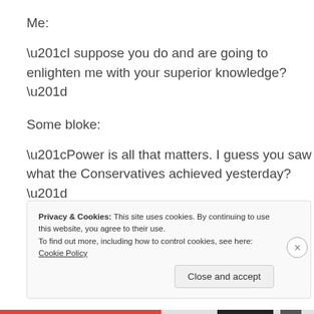Me:
“I suppose you do and are going to enlighten me with your superior knowledge?”
Some bloke:
“Power is all that matters. I guess you saw what the Conservatives achieved yesterday?”
Privacy & Cookies: This site uses cookies. By continuing to use this website, you agree to their use.
To find out more, including how to control cookies, see here: Cookie Policy
Close and accept